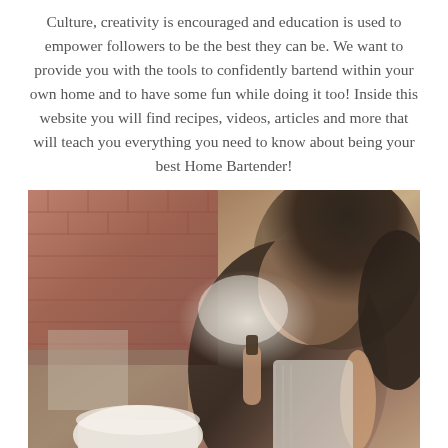Culture, creativity is encouraged and education is used to empower followers to be the best they can be. We want to provide you with the tools to confidently bartend within your own home and to have some fun while doing it too! Inside this website you will find recipes, videos, articles and more that will teach you everything you need to know about being your best Home Bartender!
[Figure (photo): A woman with curly dark hair blowing or exhaling something (possibly smoke from a flame or candle) outdoors near a brick wall, holding items in her hands. A white cup or bowl is visible in the lower left.]